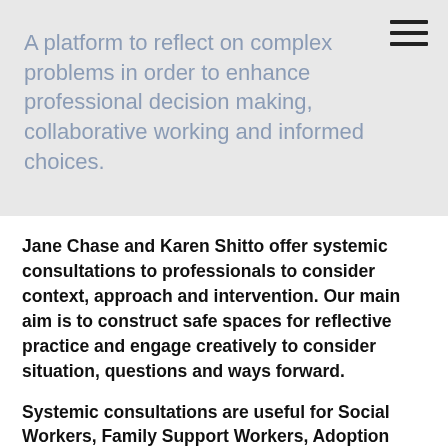A platform to reflect on complex problems in order to enhance professional decision making, collaborative working and informed choices.
Jane Chase and Karen Shitto offer systemic consultations to professionals to consider context, approach and intervention. Our main aim is to construct safe spaces for reflective practice and engage creatively to consider situation, questions and ways forward.
Systemic consultations are useful for Social Workers, Family Support Workers, Adoption Support workers, therapists and other professionals who need to consider the care of a